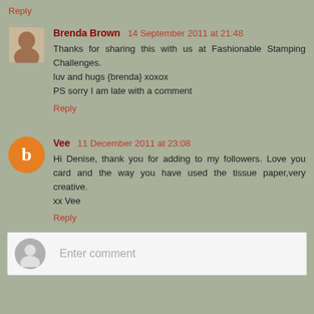Reply
Brenda Brown 14 September 2011 at 21:48
Thanks for sharing this with us at Fashionable Stamping Challenges.
luv and hugs {brenda} xoxox
PS sorry I am late with a comment
Reply
Vee 11 December 2011 at 23:08
Hi Denise, thank you for adding to my followers. Love you card and the way you have used the tissue paper,very creative.
xx Vee
Reply
Enter comment